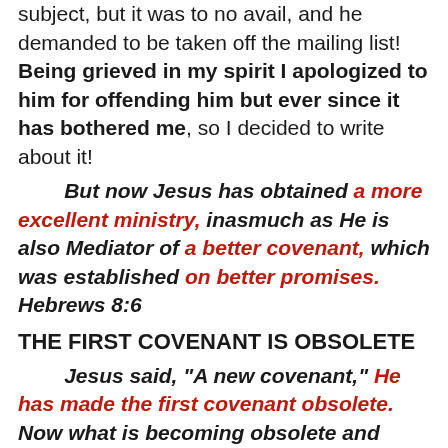subject, but it was to no avail, and he demanded to be taken off the mailing list! Being grieved in my spirit I apologized to him for offending him but ever since it has bothered me, so I decided to write about it!
But now Jesus has obtained a more excellent ministry, inasmuch as He is also Mediator of a better covenant, which was established on better promises. Hebrews 8:6
THE FIRST COVENANT IS OBSOLETE
Jesus said, "A new covenant," He has made the first covenant obsolete. Now what is becoming obsolete and growing old is ready to vanish away. Hebrews 8:13
The replacement theology folks think that God didn't keep His promise to Israel, but in fact He not only kept His promise, He made it better! It would be like your uncle died and left you his will and testament with an inheritance of one million dollars! Then the lawyer calls and says, "We found a revised will of your uncle and he left you ten million!"